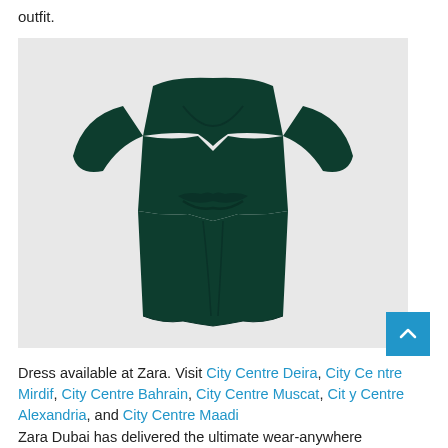outfit.
[Figure (photo): A dark green wrap-style midi dress with flutter/cape sleeves and a twisted/knotted front detail, displayed on a light grey background. The dress is from Zara.]
Dress available at Zara. Visit City Centre Deira, City Centre Mirdif, City Centre Bahrain, City Centre Muscat, City Centre Alexandria, and City Centre Maadi
Zara Dubai has delivered the ultimate wear-anywhere